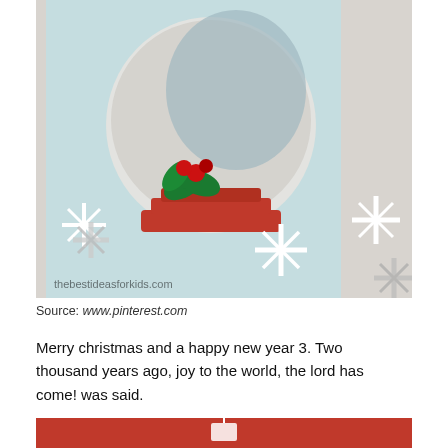[Figure (photo): A handmade Christmas snow globe card with a child's photo inside a sequined circle. The card features a red base with holly decorations and glitter snowflakes on a light blue background. Watermark reads 'thebestideasforkids.com']
Source: www.pinterest.com
Merry christmas and a happy new year 3. Two thousand years ago, joy to the world, the lord has come! was said.
[Figure (photo): Partial view of a red background image with a white decorative element at the bottom of the page]